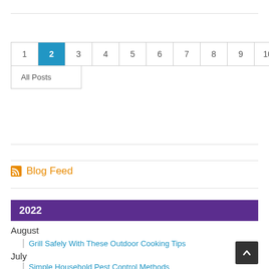| 1 | 2 | 3 | 4 | 5 | 6 | 7 | 8 | 9 | 10 |
| All Posts |  |  |  |  |  |  |  |  |  |
Blog Feed
2022
August
Grill Safely With These Outdoor Cooking Tips
July
Simple Household Pest Control Methods